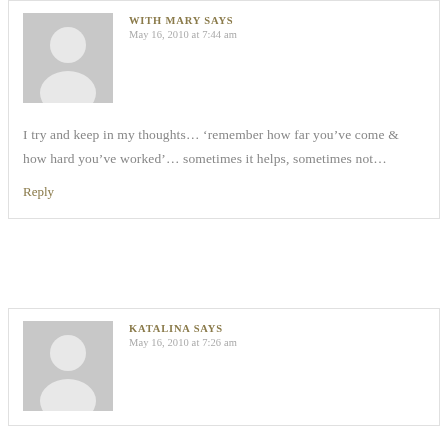[Figure (illustration): Gray placeholder avatar silhouette for first commenter (WITH MARY)]
WITH MARY SAYS
May 16, 2010 at 7:44 am
I try and keep in my thoughts… 'remember how far you've come & how hard you've worked'… sometimes it helps, sometimes not…
Reply
[Figure (illustration): Gray placeholder avatar silhouette for second commenter (KATALINA)]
KATALINA SAYS
May 16, 2010 at 7:26 am